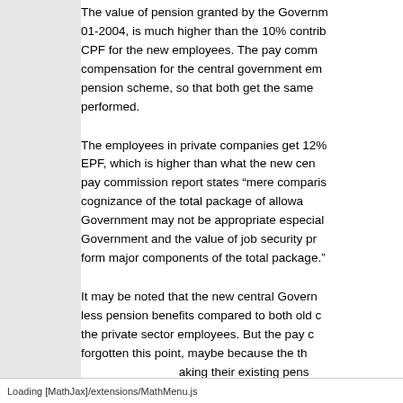The value of pension granted by the Government prior to 01-2004, is much higher than the 10% contribution to CPF for the new employees. The pay commission recommended compensation for the central government employees under new pension scheme, so that both get the same reward for work performed.
The employees in private companies get 12% contribution to EPF, which is higher than what the new central employees get. The pay commission report states "mere comparison of the basic pay without taking cognizance of the total package of allowances available in Government may not be appropriate especially since the perks in Government and the value of job security provided by Government form major components of the total package."
It may be noted that the new central Government employees get less pension benefits compared to both old central Government and the private sector employees. But the pay commission seems to have forgotten this point, maybe because the then Finance Minister interested in making their existing pension scheme a success.
Loading [MathJax]/extensions/MathMenu.js